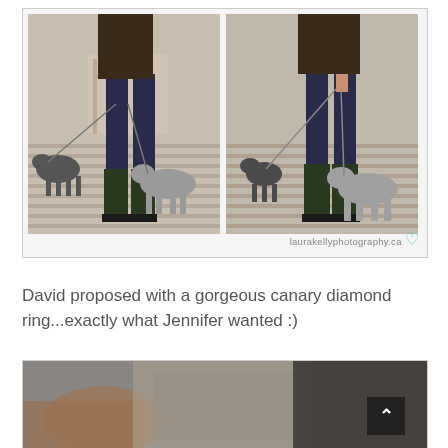[Figure (photo): Two side-by-side photos of a person in dark jeans and boots walking two dogs on leashes on a wooden boardwalk. Left photo shows slightly different framing than right. Watermark reads 'laurakellyphotography.ca' with a teal heart.]
David proposed with a gorgeous canary diamond ring...exactly what Jennifer wanted :)
[Figure (photo): Close-up photo showing hands and clothing, partially visible. Bottom of page.]